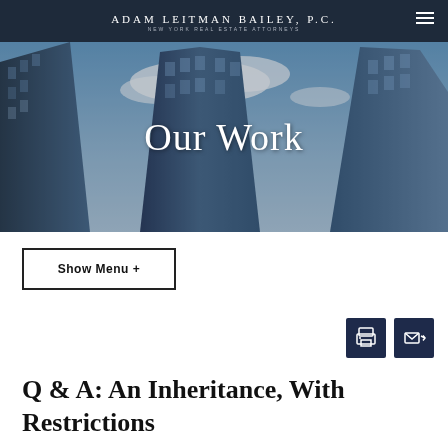ADAM LEITMAN BAILEY, P.C. NEW YORK REAL ESTATE ATTORNEYS
[Figure (photo): Looking-up perspective photo of tall glass skyscraper buildings against a blue sky with clouds, with 'Our Work' text overlay]
Show Menu +
[Figure (other): Print icon button (dark navy square with printer icon)]
[Figure (other): Email icon button (dark navy square with envelope/forward icon)]
Q & A: An Inheritance, With Restrictions